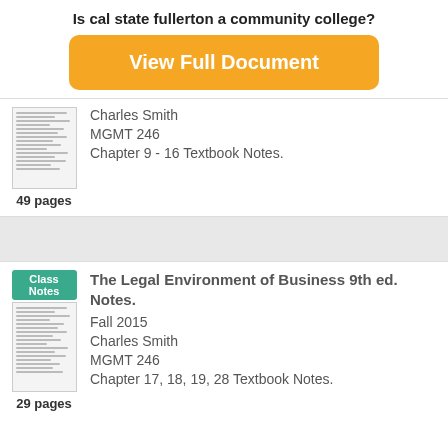Is cal state fullerton a community college?
[Figure (other): Orange button labeled 'View Full Document']
[Figure (other): Thumbnail of a document page with text lines]
49 pages
Charles Smith
MGMT 246
Chapter 9 - 16 Textbook Notes.
[Figure (other): Class Notes badge and document thumbnail]
29 pages
The Legal Environment of Business 9th ed. Notes.
Fall 2015
Charles Smith
MGMT 246
Chapter 17, 18, 19, 28 Textbook Notes.